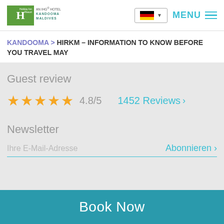[Figure (logo): Holiday Inn Resort – An IHG Hotel, Kandooma Maldives logo with green background and stylized H]
[Figure (other): German flag language selector and MENU hamburger icon in teal]
KANDOOMA > HIRKM – INFORMATION TO KNOW BEFORE YOU TRAVEL MAY
Guest review
★★★★★ 4.8/5   1452 Reviews ›
Newsletter
Ihre E-Mail-Adresse   Abonnieren ›
Book Now